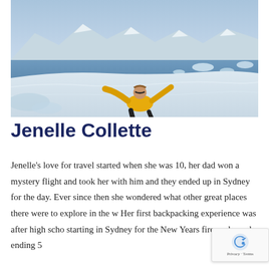[Figure (photo): A woman in a yellow jacket lying on snow in Antarctica, arms outstretched, with snow-covered mountains and icy blue water in the background]
Jenelle Collette
Jenelle's love for travel started when she was 10, her dad won a mystery flight and took her with him and they ended up in Sydney for the day. Ever since then she wondered what other great places there were to explore in the w... Her first backpacking experience was after high scho... starting in Sydney for the New Years fireworks and ending 5